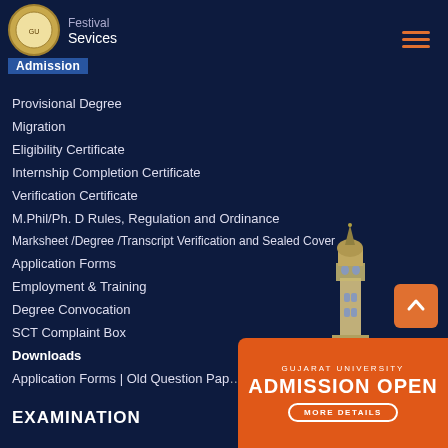Festival Sevices
Admission
Provisional Degree
Migration
Eligibility Certificate
Internship Completion Certificate
Verification Certificate
M.Phil/Ph. D Rules, Regulation and Ordinance
Marksheet /Degree /Transcript Verification and Sealed Cover
Application Forms
Employment & Training
Degree Convocation
SCT Complaint Box
Downloads
Application Forms | Old Question Pap...
EXAMINATION
[Figure (illustration): Gujarat University admission open banner with orange background, university text and MORE DETAILS button]
[Figure (photo): Tower/minaret of Gujarat University building]